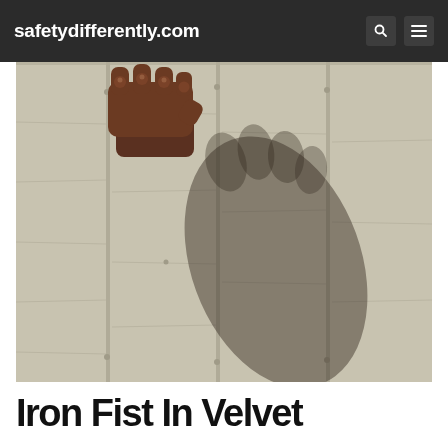safetydifferently.com
[Figure (photo): Close-up photo of a dark brown metal fist door knocker on weathered grey wooden planks, casting a large dramatic shadow shaped like a fist on the wood surface]
Iron Fist In Velvet...